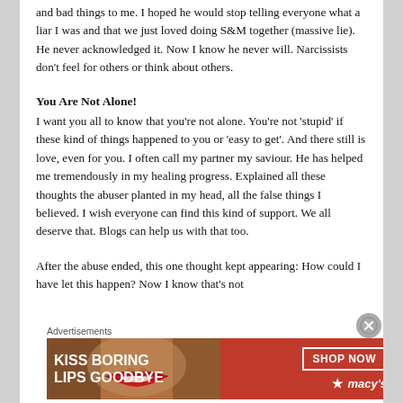and bad things to me. I hoped he would stop telling everyone what a liar I was and that we just loved doing S&M together (massive lie). He never acknowledged it. Now I know he never will. Narcissists don't feel for others or think about others.
You Are Not Alone!
I want you all to know that you're not alone. You're not 'stupid' if these kind of things happened to you or 'easy to get'. And there still is love, even for you. I often call my partner my saviour. He has helped me tremendously in my healing progress. Explained all these thoughts the abuser planted in my head, all the false things I believed. I wish everyone can find this kind of support. We all deserve that. Blogs can help us with that too.
After the abuse ended, this one thought kept appearing: How could I have let this happen? Now I know that's not
Advertisements
[Figure (illustration): Macy's advertisement banner: 'KISS BORING LIPS GOODBYE' with a woman's face showing red lips, and a 'SHOP NOW' button with the Macy's star logo on a red background.]